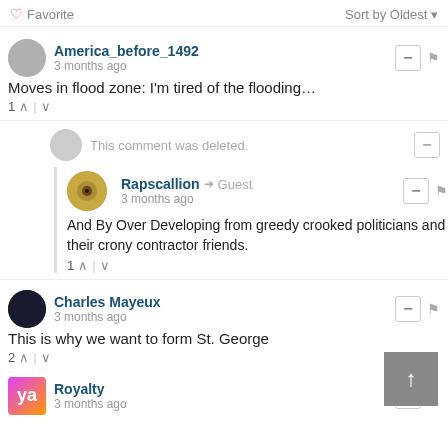♡ Favorite    Sort by Oldest ▾
America_before_1492
3 months ago
Moves in flood zone: I'm tired of the flooding…
1 ↑ | ↓
This comment was deleted.
Rapscallion → Guest
3 months ago
And By Over Developing from greedy crooked politicians and their crony contractor friends.
1 ↑ | ↓
Charles Mayeux
3 months ago
This is why we want to form St. George
2 ↑ | ↓
Royalty
3 months ago